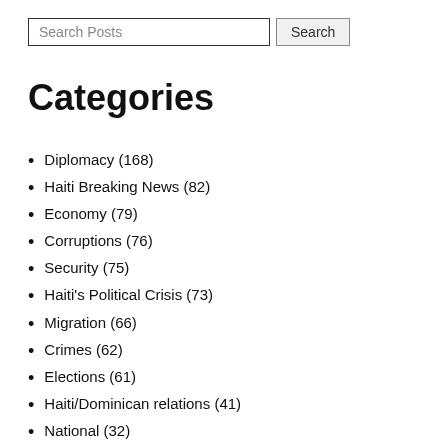[Figure (screenshot): Search bar with text input 'Search Posts' and a Search button]
Categories
Diplomacy (168)
Haiti Breaking News (82)
Economy (79)
Corruptions (76)
Security (75)
Haiti's Political Crisis (73)
Migration (66)
Crimes (62)
Elections (61)
Haiti/Dominican relations (41)
National (32)
Health (31)
Politic (28)
Haiti Hurricane Matthew (27)
Human Rights (22)
others (21)
Weather (17)
Tourism (17)